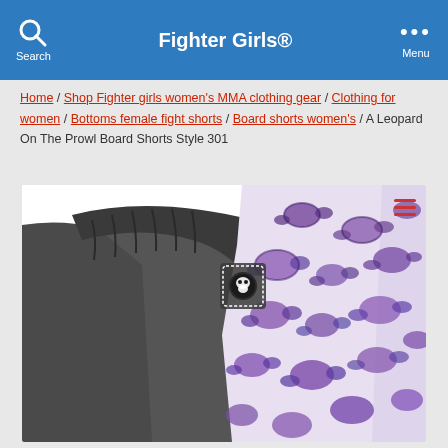Fighter Girls®
Home / Shop Fighter girls women's MMA clothing gear / Clothing for women / Bottoms female fight shorts / Board shorts women's / A Leopard On The Prowl Board Shorts Style 301
[Figure (photo): Product photo of board shorts with black fabric on left side and purple/white leopard print pattern on right side, featuring a logo badge at center waistband.]